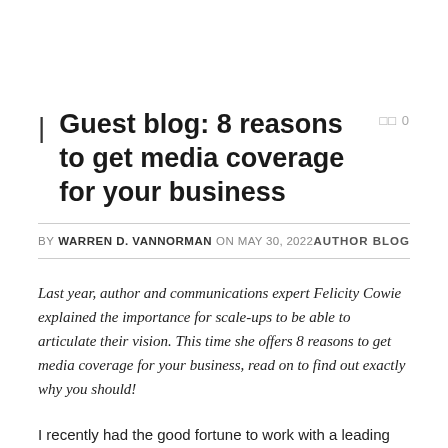Guest blog: 8 reasons to get media coverage for your business
BY WARREN D. VANNORMAN ON MAY 30, 2022   AUTHOR BLOG
Last year, author and communications expert Felicity Cowie explained the importance for scale-ups to be able to articulate their vision. This time she offers 8 reasons to get media coverage for your business, read on to find out exactly why you should!
I recently had the good fortune to work with a leading venture capitalist in technology companies, Eileen Burbidge MBE. She